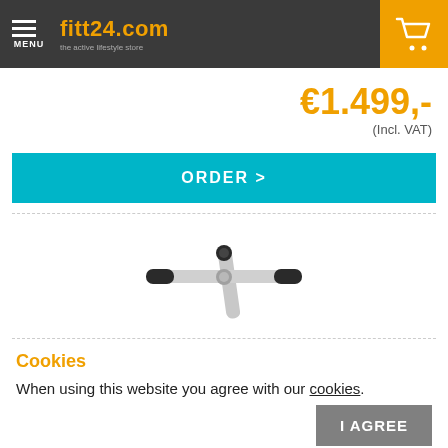fitt24.com
€1.499,-
(Incl. VAT)
ORDER >
[Figure (photo): Handlebar and stem of a fitness/exercise machine, silver colored, viewed from front, on white background]
Cookies
When using this website you agree with our cookies.
I AGREE